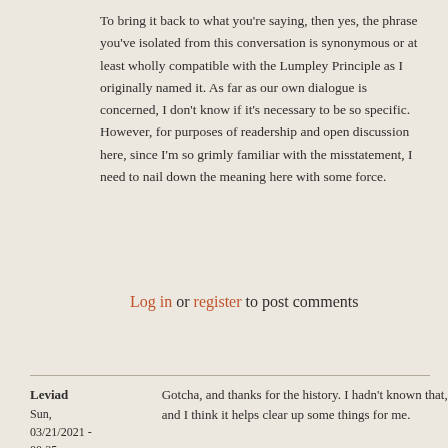To bring it back to what you're saying, then yes, the phrase you've isolated from this conversation is synonymous or at least wholly compatible with the Lumpley Principle as I originally named it. As far as our own dialogue is concerned, I don't know if it's necessary to be so specific. However, for purposes of readership and open discussion here, since I'm so grimly familiar with the misstatement, I need to nail down the meaning here with some force.
Log in or register to post comments
Leviad
Sun, 03/21/2021 - 00:35
permalink
Gotcha, and thanks for the history. I hadn't known that, and I think it helps clear up some things for me.